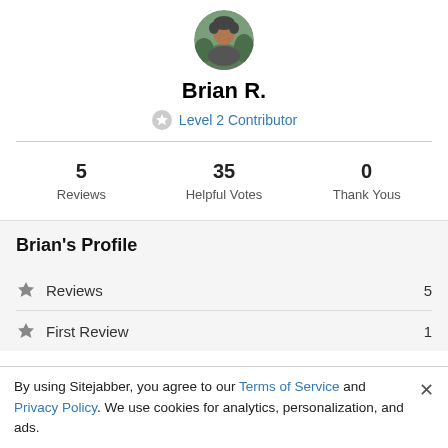[Figure (photo): Circular avatar photo of a person (Brian R.) with dark hair against green foliage background]
Brian R.
Level 2 Contributor
5 Reviews   35 Helpful Votes   0 Thank Yous
Brian's Profile
Reviews  5
First Review  1
By using Sitejabber, you agree to our Terms of Service and Privacy Policy. We use cookies for analytics, personalization, and ads.